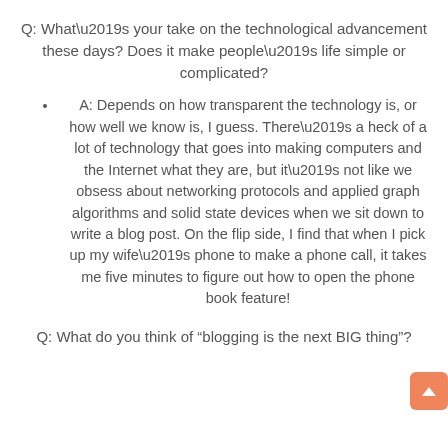Q: What's your take on the technological advancement these days? Does it make people's life simple or complicated?
A: Depends on how transparent the technology is, or how well we know is, I guess. There's a heck of a lot of technology that goes into making computers and the Internet what they are, but it's not like we obsess about networking protocols and applied graph algorithms and solid state devices when we sit down to write a blog post. On the flip side, I find that when I pick up my wife's phone to make a phone call, it takes me five minutes to figure out how to open the phone book feature!
Q: What do you think of “blogging is the next BIG thing”?